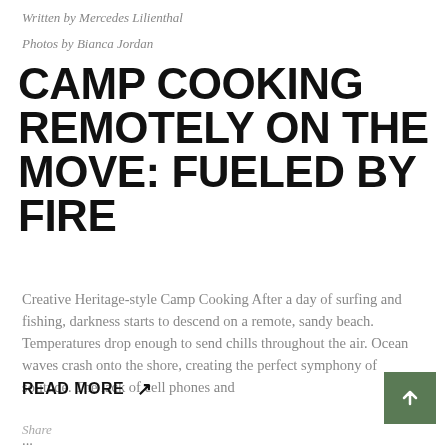Written by Mercedes Lilienthal
Photos by Bianca Jordan
CAMP COOKING REMOTELY ON THE MOVE: FUELED BY FIRE
Creative Heritage-style Camp Cooking After a day of surfing and fishing, darkness starts to descend on a remote, sandy beach. Temperatures drop enough to send chills throughout the air. Ocean waves crash onto the shore, creating the perfect symphony of solitude. The lack of cell phones and ...
READ MORE ↗
Share